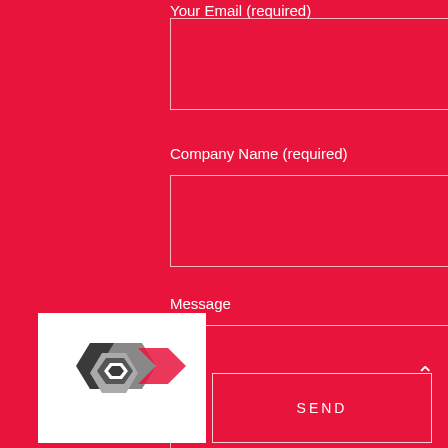Your Email (required)
Company Name (required)
Message
[Figure (logo): Company logo with hexagonal gear icon in dark grey/white tones on white square background]
SEND